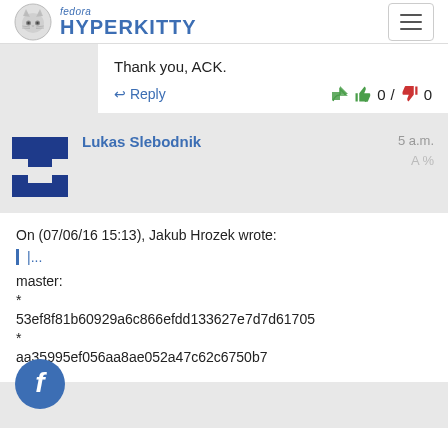fedora HYPERKITTY
Thank you, ACK.
Reply  👍 0 / 👎 0
Lukas Slebodnik   5 a.m.   A%
On (07/06/16 15:13), Jakub Hrozek wrote:
|
...
master:
*
53ef8f81b60929a6c866efdd133627e7d7d61705
*
aa35995ef056aa8ae052a47c62c6750b7